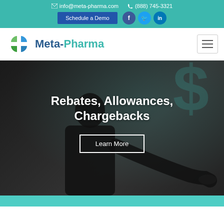info@meta-pharma.com  (888) 745-3321
[Figure (logo): Meta-Pharma logo with green and blue cross icon and text 'Meta-Pharma']
Rebates, Allowances, Chargebacks
Learn More